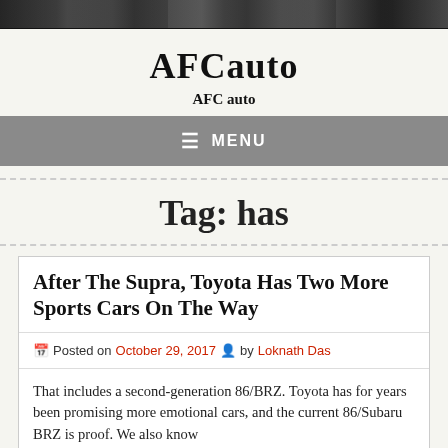[Figure (photo): Header image strip showing cars/automotive imagery]
AFCauto
AFC auto
≡ MENU
Tag: has
After The Supra, Toyota Has Two More Sports Cars On The Way
Posted on October 29, 2017  by Loknath Das
That includes a second-generation 86/BRZ. Toyota has for years been promising more emotional cars, and the current 86/Subaru BRZ is proof. We also know